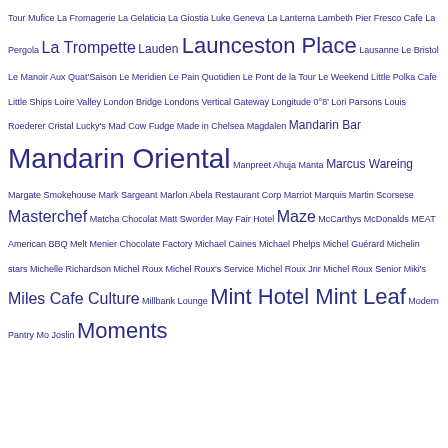Tour Mufice La Fromagerie La Gelaticia La Giostia Luke Geneva La Lanterna Lambeth Pier Fresco Cafe La Pergola La Trompette Lauden Launceston Place Lausanne Le Bristol Le Manoir Aux Quat'Saison Le Meridien Le Pain Quotidien Le Pont de la Tour Le Weekend Little Polka Cafe Little Ships Loire Valley London Bridge Londons Vertical Gateway Longitude 0°8' Lori Parsons Louis Roederer Cristal Lucky's Mad Cow Fudge Made in Chelsea Magdalen Mandarin Bar Mandarin Oriental Manpreet Ahuja Manta Marcus Wareing Margate Smokehouse Mark Sargeant Marlon Abela Restaurant Corp Marriot Marquis Martin Scorsese Masterchef Matcha Chocolat Matt Sworder May Fair Hotel Maze McCarthys McDonalds MEAT American BBQ Melt Menier Chocolate Factory Michael Caines Michael Phelps Michel Guérard Michelin stars Michelle Richardson Michel Roux Michel Roux's Service Michel Roux Jnr Michel Roux Senior Miki's Miles Cafe Culture Millbank Lounge Mint Hotel Mint Leaf Modern Pantry Mo Joslin Moments